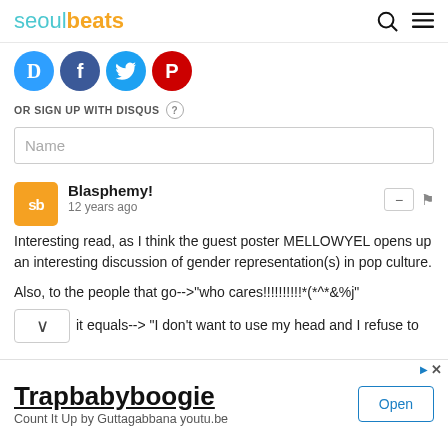seoulbeats
[Figure (logo): Four social login icons: Disqus (blue D), Facebook (blue f), Twitter (blue bird), and Pinterest (red P)]
OR SIGN UP WITH DISQUS ?
Name
Blasphemy!
12 years ago
Interesting read, as I think the guest poster MELLOWYEL opens up an interesting discussion of gender representation(s) in pop culture.

Also, to the people that go-->"who cares!!!!!!!!!!*(*^*&%j"
it equals--> "I don't want to use my head and I refuse to
Trapbabyboogie
Count It Up by Guttagabbana youtu.be